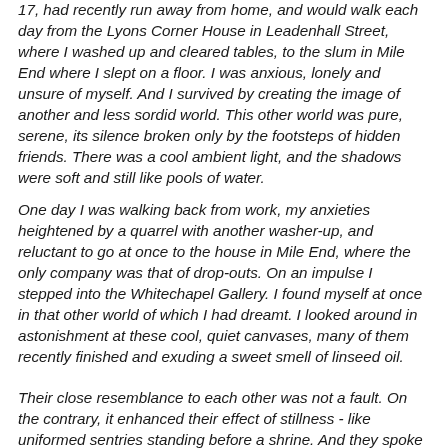17, had recently run away from home, and would walk each day from the Lyons Corner House in Leadenhall Street, where I washed up and cleared tables, to the slum in Mile End where I slept on a floor. I was anxious, lonely and unsure of myself. And I survived by creating the image of another and less sordid world. This other world was pure, serene, its silence broken only by the footsteps of hidden friends. There was a cool ambient light, and the shadows were soft and still like pools of water.
One day I was walking back from work, my anxieties heightened by a quarrel with another washer-up, and reluctant to go at once to the house in Mile End, where the only company was that of drop-outs. On an impulse I stepped into the Whitechapel Gallery. I found myself at once in that other world of which I had dreamt. I looked around in astonishment at these cool, quiet canvases, many of them recently finished and exuding a sweet smell of linseed oil.
Their close resemblance to each other was not a fault. On the contrary, it enhanced their effect of stillness - like uniformed sentries standing before a shrine. And they spoke...